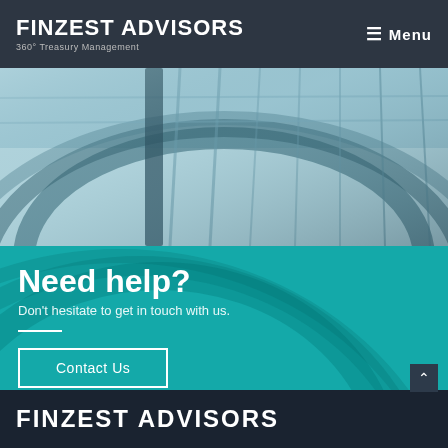FINZEST ADVISORS 360° Treasury Management | Menu
[Figure (photo): Interior architectural photo of a modern building with curved glass railings and arched ceiling, shot from above, blue-teal tones]
Need help?
Don't hesitate to get in touch with us.
Contact Us
FINZEST ADVISORS